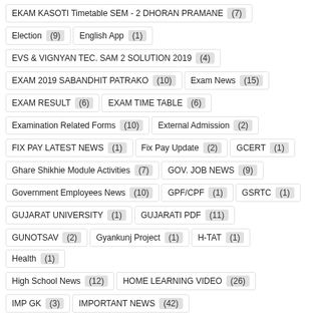EKAM KASOTI Timetable SEM - 2 DHORAN PRAMANE (7)
Election (9)  English App (1)
EVS & VIGNYAN TEC. SAM 2 SOLUTION 2019 (4)
EXAM 2019 SABANDHIT PATRAKO (10)  Exam News (15)
EXAM RESULT (6)  EXAM TIME TABLE (6)
Examination Related Forms (10)  External Admission (2)
FIX PAY LATEST NEWS (1)  Fix Pay Update (2)  GCERT (1)
Ghare Shikhie Module Activities (7)  GOV. JOB NEWS (9)
Government Employees News (10)  GPF/CPF (1)  GSRTC (1)
GUJARAT UNIVERSITY (1)  GUJARATI PDF (11)
GUNOTSAV (2)  Gyankunj Project (1)  H-TAT (1)  Health (1)
High School News (12)  HOME LEARNING VIDEO (26)
IMP GK (3)  IMPORTANT NEWS (42)  Jillafer All District List (13)
Jillafer News (16)  JNV CLASS VI (1)  KAIZALA (4)